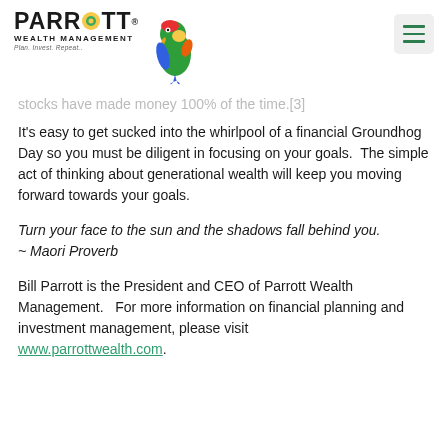PARROTT WEALTH MANAGEMENT — Plan. Invest. Repeat.
stocks have made money 100% of the time.[3]
It's easy to get sucked into the whirlpool of a financial Groundhog Day so you must be diligent in focusing on your goals.  The simple act of thinking about generational wealth will keep you moving forward towards your goals.
Turn your face to the sun and the shadows fall behind you. ~ Maori Proverb
Bill Parrott is the President and CEO of Parrott Wealth Management.   For more information on financial planning and investment management, please visit www.parrottwealth.com.